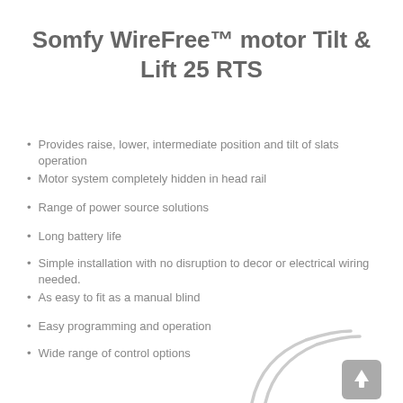Somfy WireFree™ motor Tilt & Lift 25 RTS
Provides raise, lower, intermediate position and tilt of slats operation
Motor system completely hidden in head rail
Range of power source solutions
Long battery life
Simple installation with no disruption to decor or electrical wiring needed.
As easy to fit as a manual blind
Easy programming and operation
Wide range of control options
[Figure (illustration): Partial illustration of a blind/motor component visible at bottom right of page, with curved lines suggesting a rail or wand element. A grey scroll-to-top button is visible in the bottom right corner.]